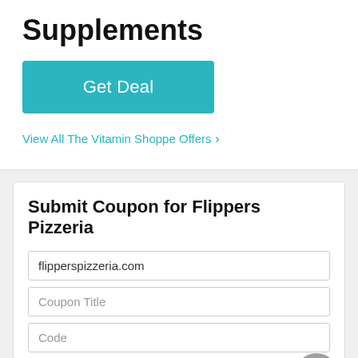Supplements
[Figure (other): Teal 'Get Deal' button]
View All The Vitamin Shoppe Offers >
Submit Coupon for Flippers Pizzeria
flipperspizzeria.com
Coupon Title
Code
Description
Expiration